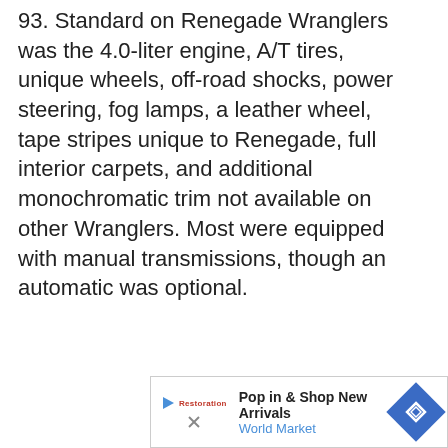93. Standard on Renegade Wranglers was the 4.0-liter engine, A/T tires, unique wheels, off-road shocks, power steering, fog lamps, a leather wheel, tape stripes unique to Renegade, full interior carpets, and additional monochromatic trim not available on other Wranglers. Most were equipped with manual transmissions, though an automatic was optional.
[Figure (illustration): Partial front/top view of a Jeep Wrangler vehicle, black line drawing, cropped at bottom of page]
Pop in & Shop New Arrivals World Market